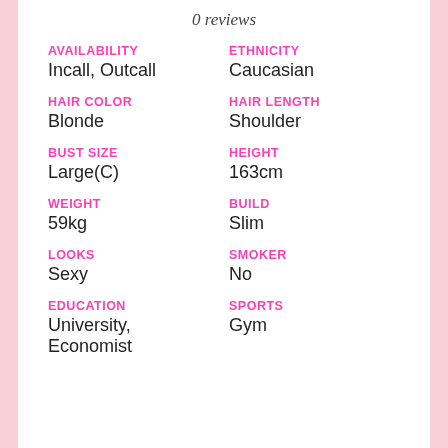0 reviews
AVAILABILITY
Incall, Outcall
ETHNICITY
Caucasian
HAIR COLOR
Blonde
HAIR LENGTH
Shoulder
BUST SIZE
Large(C)
HEIGHT
163cm
WEIGHT
59kg
BUILD
Slim
LOOKS
Sexy
SMOKER
No
EDUCATION
University, Economist
SPORTS
Gym